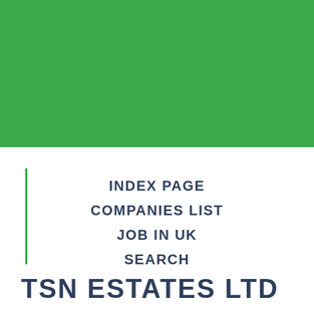[Figure (other): Green banner/header bar spanning the top of the page]
INDEX PAGE
COMPANIES LIST
JOB IN UK
SEARCH
CONTACTS
TSN ESTATES LTD